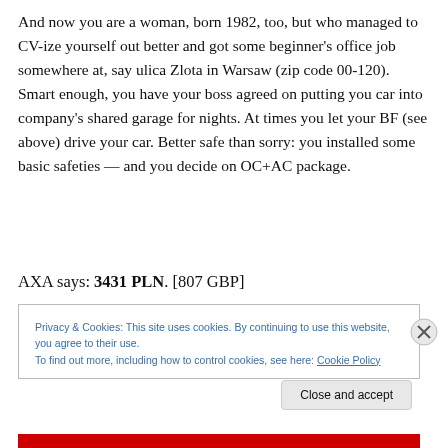And now you are a woman, born 1982, too, but who managed to CV-ize yourself out better and got some beginner's office job somewhere at, say ulica Zlota in Warsaw (zip code 00-120). Smart enough, you have your boss agreed on putting you car into company's shared garage for nights. At times you let your BF (see above) drive your car. Better safe than sorry: you installed some basic safeties — and you decide on OC+AC package.
AXA says: 3431 PLN. [807 GBP]
Privacy & Cookies: This site uses cookies. By continuing to use this website, you agree to their use.
To find out more, including how to control cookies, see here: Cookie Policy